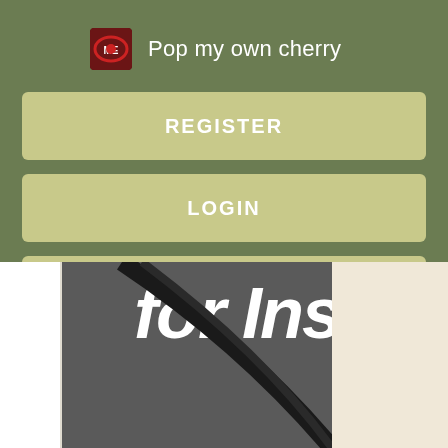Pop my own cherry
REGISTER
LOGIN
CONTACT US
[Figure (screenshot): Partial view of a background image with large italic white text reading 'for Ins' on a dark gray background with a curved black arc element, beside a beige/cream colored panel]